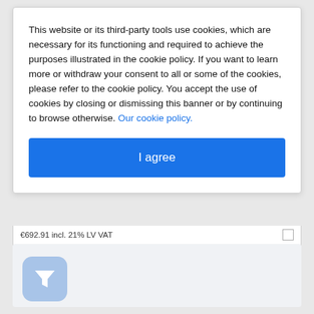This website or its third-party tools use cookies, which are necessary for its functioning and required to achieve the purposes illustrated in the cookie policy. If you want to learn more or withdraw your consent to all or some of the cookies, please refer to the cookie policy. You accept the use of cookies by closing or dismissing this banner or by continuing to browse otherwise. Our cookie policy.
I agree
€692.91 incl. 21% LV VAT
[Figure (illustration): Light blue rounded square icon containing a white funnel/filter symbol]